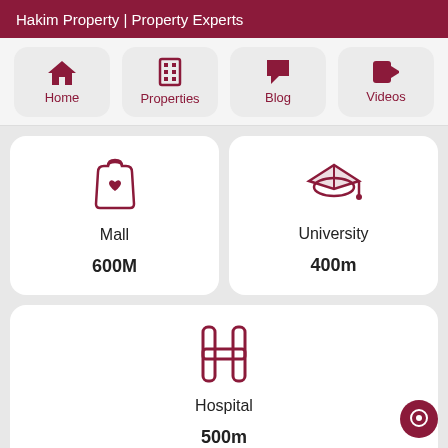Hakim Property | Property Experts
[Figure (screenshot): Navigation bar with four icons: Home, Properties, Blog, Videos]
[Figure (infographic): Two property proximity cards side by side: Mall 600M and University 400m]
[Figure (infographic): Hospital proximity card: Hospital 500m]